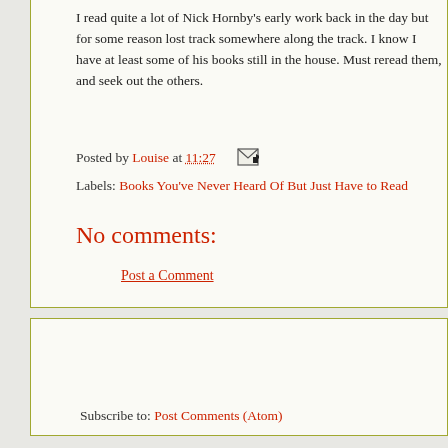I read quite a lot of Nick Hornby's early work back in the day but for some reason lost track somewhere along the track. I know I have at least some of his books still in the house. Must reread them, and seek out the others.
Posted by Louise at 11:27  [email icon]
Labels: Books You've Never Heard Of But Just Have to Read
No comments:
Post a Comment
Newer Post
Home
View mobile version
Subscribe to: Post Comments (Atom)